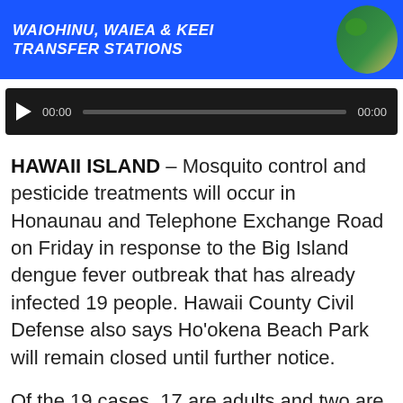[Figure (other): Blue banner with white bold italic text reading 'WAIOHINU, WAIEA & KEEI TRANSFER STATIONS' and a map graphic of Hawaii island on the right side]
[Figure (other): Audio player widget with dark/black background, play button triangle, time display showing 00:00, progress bar, and end time 00:00]
HAWAII ISLAND – Mosquito control and pesticide treatments will occur in Honaunau and Telephone Exchange Road on Friday in response to the Big Island dengue fever outbreak that has already infected 19 people. Hawaii County Civil Defense also says Ho'okena Beach Park will remain closed until further notice.
Of the 19 cases, 17 are adults and two are